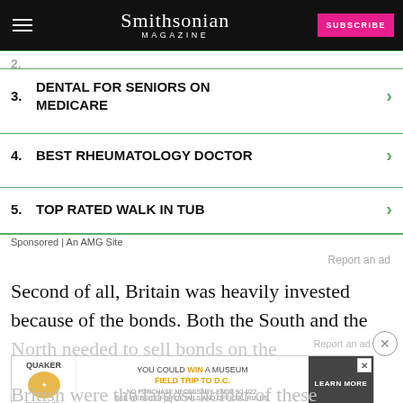Smithsonian MAGAZINE
3. DENTAL FOR SENIORS ON MEDICARE
4. BEST RHEUMATOLOGY DOCTOR
5. TOP RATED WALK IN TUB
Sponsored | An AMG Site
Report an ad
Second of all, Britain was heavily invested because of the bonds. Both the South and the
North needed to sell bonds on the international mark
[Figure (screenshot): Quaker Museum Day ad banner: YOU COULD WIN A MUSEUM FIELD TRIP TO D.C. LEARN MORE]
British were the largest holder of these bonds.